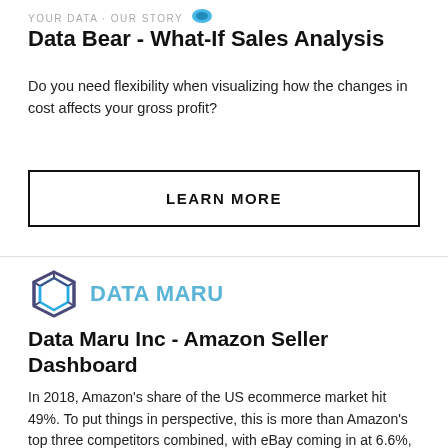YOUR DATA · OUR STORY
Data Bear - What-If Sales Analysis
Do you need flexibility when visualizing how the changes in cost affects your gross profit?
LEARN MORE
[Figure (logo): Data Maru logo with geometric cube icon and teal text reading DATA MARU]
Data Maru Inc - Amazon Seller Dashboard
In 2018, Amazon's share of the US ecommerce market hit 49%. To put things in perspective, this is more than Amazon's top three competitors combined, with eBay coming in at 6.6%, Apple at 3.9% and Walmart at 3.7%. As